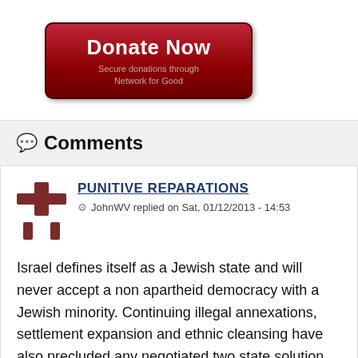[Figure (other): Donate Now button - secure donations through Network for Good]
💬 Comments
PUNITIVE REPARATIONS
JohnWV replied on Sat, 01/12/2013 - 14:53
Israel defines itself as a Jewish state and will never accept a non apartheid democracy with a Jewish minority. Continuing illegal annexations, settlement expansion and ethnic cleansing have also precluded any negotiated two state solution. Justice may now be served only by UN and NATO imposing resolution just as involuntary, disruptive and humiliating to Israel as Israel has wreaked upon occupied Palestine for generations. The Jewish State must be made to recognize an